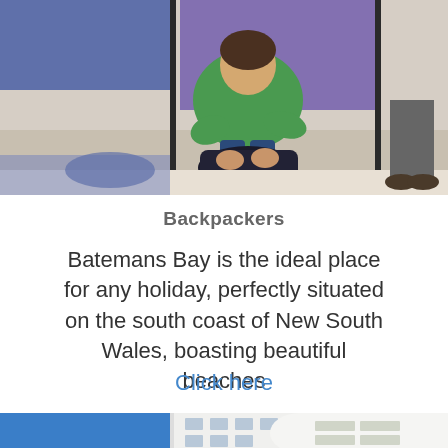[Figure (photo): Person in green sweater packing a backpack/bag on the floor of a hostel room with bunk beds visible in background]
Backpackers
Batemans Bay is the ideal place for any holiday, perfectly situated on the south coast of New South Wales, boasting beautiful beaches
Click here
[Figure (photo): Exterior of a white modern apartment building with balconies against a blue sky]